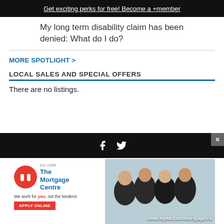Get exciting perks for free! Become a +member
My long term disability claim has been denied: What do I do?
MORE SPOTLIGHT >
LOCAL SALES AND SPECIAL OFFERS
There are no listings.
[Figure (other): Footer bar with Facebook and Twitter social media icons on dark background, with close (X) button]
[Figure (other): Advertisement banner for The Mortgage Centre (Est 1989) - We work for you, not the lenders! APPLY ONLINE. www.MyMidlandMortgage.ca. Shows logo with red circle icon and photo of four women.]